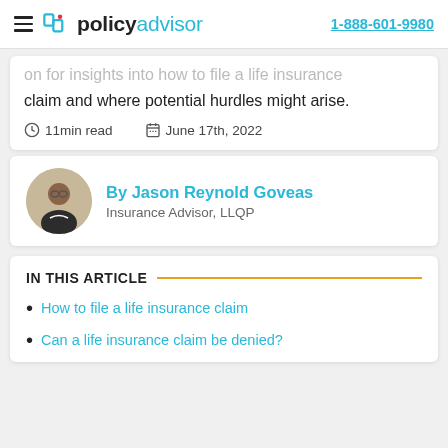policyadvisor | 1-888-601-9980
on for insights into how to file a life insurance claim and where potential hurdles might arise.
11min read   June 17th, 2022
By Jason Reynold Goveas
Insurance Advisor, LLQP
IN THIS ARTICLE
How to file a life insurance claim
Can a life insurance claim be denied?